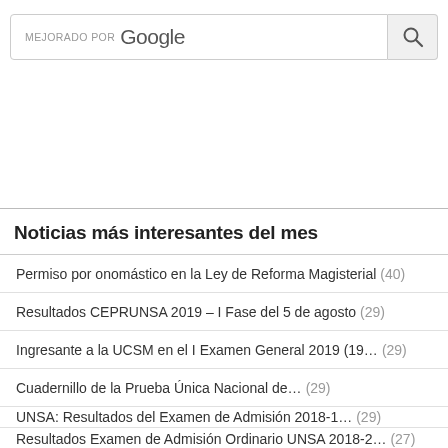[Figure (screenshot): Search bar with 'MEJORADO POR Google' text and a search icon button]
Noticias más interesantes del mes
Permiso por onomástico en la Ley de Reforma Magisterial (40)
Resultados CEPRUNSA 2019 – I Fase del 5 de agosto (29)
Ingresante a la UCSM en el I Examen General 2019 (19… (29)
Cuadernillo de la Prueba Única Nacional de… (29)
UNSA: Resultados del Examen de Admisión 2018-1… (29)
Resultados Examen de Admisión Ordinario UNSA 2018-2… (27)